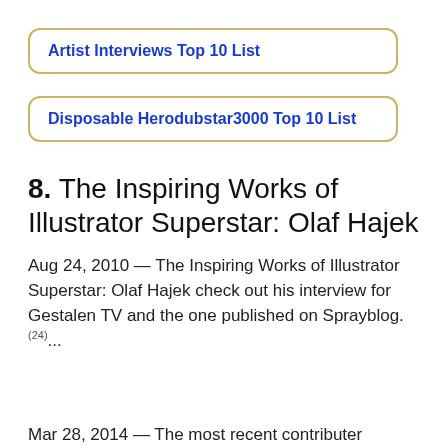Artist Interviews Top 10 List
Disposable Herodubstar3000 Top 10 List
8. The Inspiring Works of Illustrator Superstar: Olaf Hajek
Aug 24, 2010 — The Inspiring Works of Illustrator Superstar: Olaf Hajek check out his interview for Gestalen TV and the one published on Sprayblog.(24)...
Mar 28, 2014 — The most recent contributor